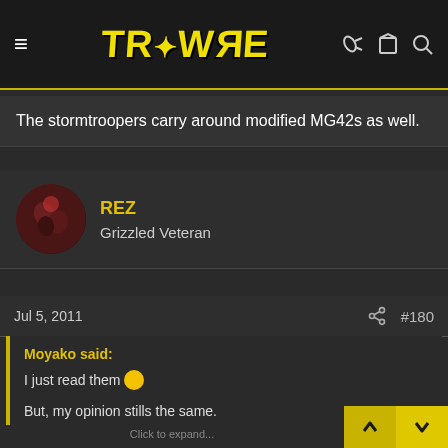TRIPWIRE
The stormtroopers carry around modified MG42s as well.
REZ
Grizzled Veteran
Jul 5, 2011   #180
Moyako said:

I just read them 😐

But, my opinion stills the same.
For example, If I want to sell popcorn in two flavors (with and without salt), and in my opinion the version with salt is better. There's no point in taking the "saltless" version off the market just because I'm afraid people would like it more. They'll will simply buy another.

Click to expand...